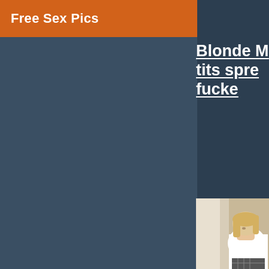Free Sex Pics
Blonde M... tits spre... fucke...
[Figure (photo): Partial view of a blonde woman in a white shirt against a beige/white background, cropped at the right edge of the page]